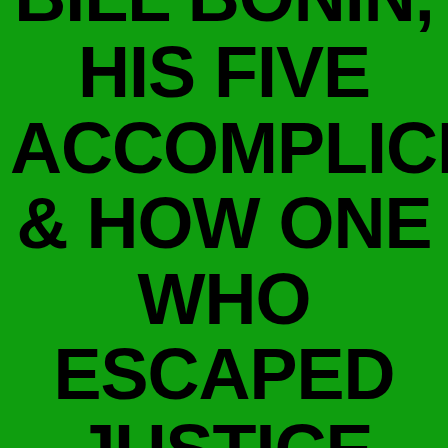BILL BONIN, HIS FIVE ACCOMPLICES & HOW ONE WHO ESCAPED JUSTICE